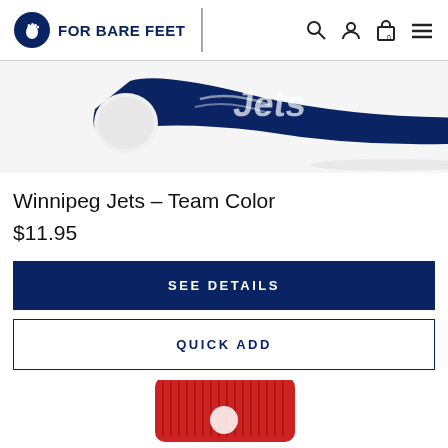FOR BARE FEET
[Figure (photo): Winnipeg Jets navy blue low-cut sock with white toe area, shown from the side on a white background.]
Winnipeg Jets – Team Color
$11.95
SEE DETAILS
QUICK ADD
[Figure (photo): Partial view of a red crew sock with a logo, shown from the top.]